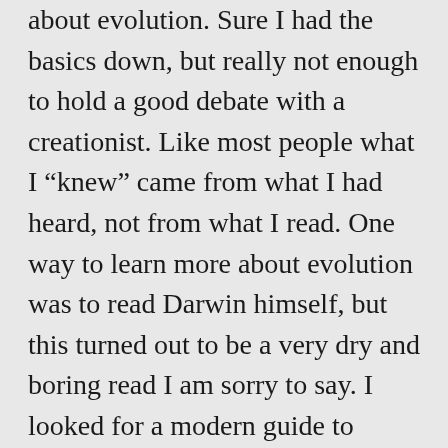about evolution. Sure I had the basics down, but really not enough to hold a good debate with a creationist. Like most people what I “knew” came from what I had heard, not from what I read. One way to learn more about evolution was to read Darwin himself, but this turned out to be a very dry and boring read I am sorry to say. I looked for a modern guide to evolution; after all, we have learned so much since Darwin, surly there was someone out there who wrote about it in a way layman can understand. To my surprise it was Richard Dawkins who has written a book that I feel Darwin would have written if he had all the facts, terms and evidence we have now.
Like many of my readers I only know Dawkins